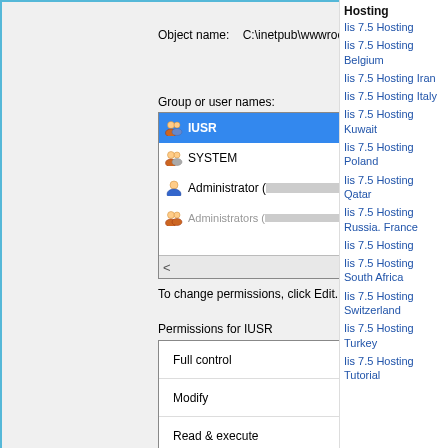[Figure (screenshot): Windows dialog box showing security permissions for C:\inetpub\wwwroot with user list (IUSR selected), permissions table showing Read & execute, List folder contents, and Read checked with checkmarks, and OK/Cancel buttons. Right sidebar shows IIS 7.5 Hosting links for various countries.]
Object name:   C:\inetpub\wwwroot
Group or user names:
IUSR
SYSTEM
Administrator (                    \Administrator
Administrators (                        ) Administra
To change permissions, click Edit.
Permissions for IUSR   Allow
Full control
Modify
Read & execute  ✓
List folder contents  ✓
Read  ✓
Write
For special permissions or advanced settings, click Advanced.
Learn about access control and permissions
OK
Cancel
Hosting
Iis 7.5 Hosting
Iis 7.5 Hosting Belgium
Iis 7.5 Hosting Iran
Iis 7.5 Hosting Italy
Iis 7.5 Hosting Kuwait
Iis 7.5 Hosting Poland
Iis 7.5 Hosting Qatar
Iis 7.5 Hosting Russia. France
Iis 7.5 Hosting
Iis 7.5 Hosting South Africa
Iis 7.5 Hosting Switzerland
Iis 7.5 Hosting Turkey
Iis 7.5 Hosting Tutorial